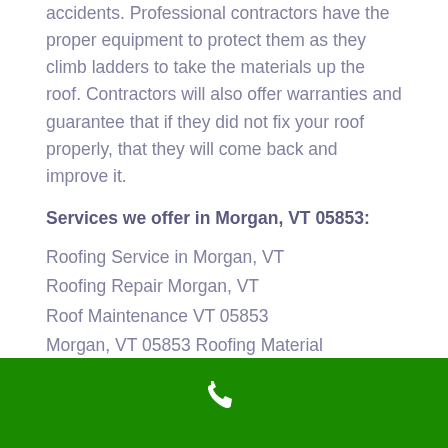accidents. Professional contractors have the proper equipment to protect them as they climb ladders to take the materials up the roof. Contractors will also offer warranties and guarantee that if they did not fix your roof properly, that they will come back and improve it.
Services we offer in Morgan, VT 05853:
Roofing Service in Morgan, VT
Roofing Repair Morgan, VT
Roof Maintenance VT 05853
Morgan, VT 05853 Roofing Material
Roof Inspection Morgan, VT
Roof Leak Repair service Morgan, VT 05853
[Figure (other): Green footer bar with white phone/call icon in the center]